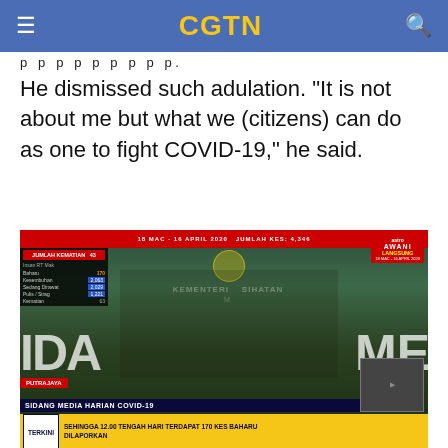CGTN
p p p p p p p p p .
He dismissed such adulation. "It is not about me but what we (citizens) can do as one to fight COVID-19," he said.
[Figure (screenshot): TV screenshot of a Malaysian health ministry press conference. Stats overlay on left showing JUMLAH KEMATIAN: 43 and case breakdowns. Ministry seal visible. Astro AWANI LANGSUNG badge top right dated 18 MAC - 16 APRIL 2020. Location: PUTRAJAYA. Lower bar: SIDANG MEDIA HARIAN COVID-19. Ticker: TERKINI - SEHINGGA 12.00 TENGAH HARI TERDAPAT 170 KES BAHARU DILAPORKAN.]
The health ministry director general is widely praised. /A TV screenshot